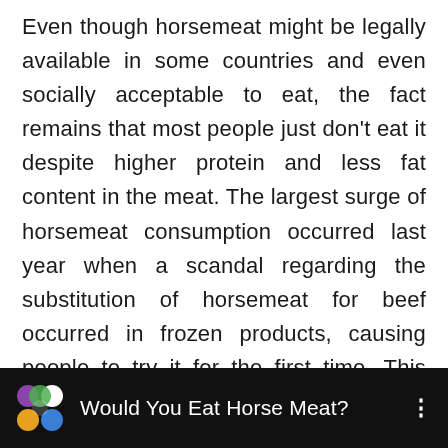Even though horsemeat might be legally available in some countries and even socially acceptable to eat, the fact remains that most people just don't eat it despite higher protein and less fat content in the meat. The largest surge of horsemeat consumption occurred last year when a scandal regarding the substitution of horsemeat for beef occurred in frozen products, causing people to try it for the first time. This small rush hasn't resulted in more overall consumption and it hasn't changed any laws where horses are illegal to consume as of yet.
[Figure (screenshot): A video thumbnail bar with black background showing a colorful logo (circles in purple, white, green, yellow, orange, blue) and the title 'Would You Eat Horse Meat?' with a three-dot menu icon on the right.]